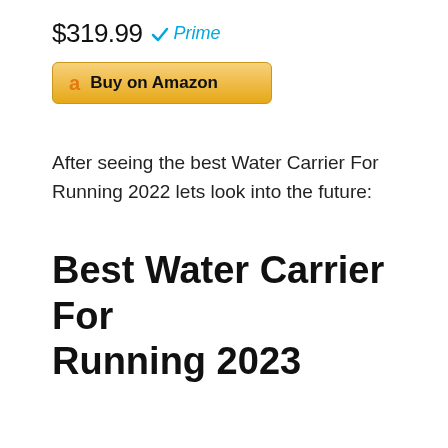$319.99 ✓Prime
[Figure (other): Buy on Amazon button with Amazon logo]
After seeing the best Water Carrier For Running 2022 lets look into the future:
Best Water Carrier For Running 2023
These are the new Water Carrier For Running releases available. Will the best Water Carrier For Running 2023 be among them?
NEW